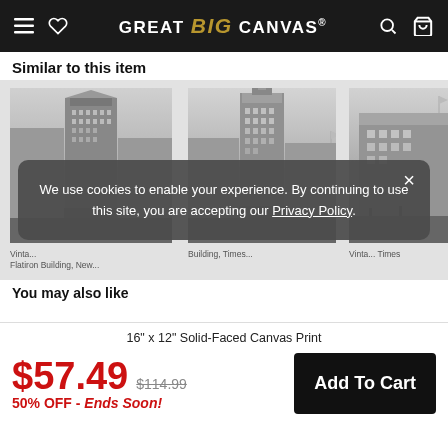GREAT BIG CANVAS
Similar to this item
[Figure (photo): Vintage black-and-white photo of Flatiron Building, New York, on canvas print]
[Figure (photo): Vintage black-and-white photo of Times Building, New York, on canvas print]
[Figure (photo): Partial vintage black-and-white photo of another New York building on canvas print]
Vinta... Flatiron Building, New... Building, Times....   Vinta... Times
We use cookies to enable your experience. By continuing to use this site, you are accepting our Privacy Policy.
You may also like
16" x 12" Solid-Faced Canvas Print
$57.49  $114.99  50% OFF - Ends Soon!
Add To Cart